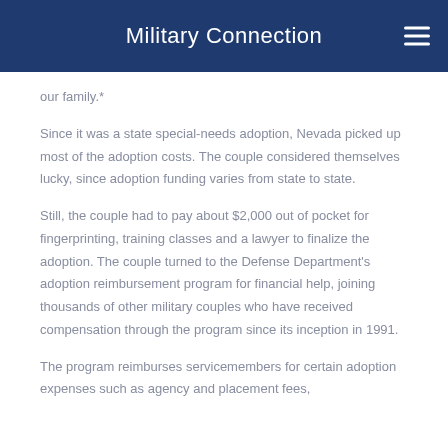Military Connection
our family.*
Since it was a state special-needs adoption, Nevada picked up most of the adoption costs. The couple considered themselves lucky, since adoption funding varies from state to state.
Still, the couple had to pay about $2,000 out of pocket for fingerprinting, training classes and a lawyer to finalize the adoption. The couple turned to the Defense Department's adoption reimbursement program for financial help, joining thousands of other military couples who have received compensation through the program since its inception in 1991.
The program reimburses servicemembers for certain adoption expenses such as agency and placement fees,